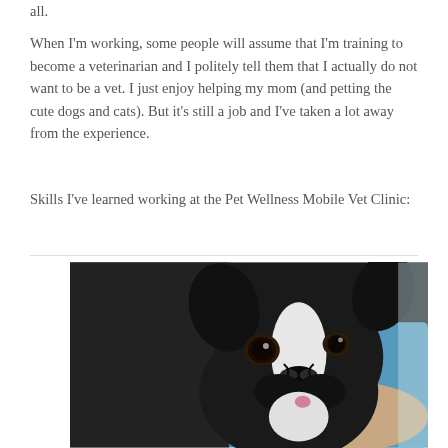all.
When I'm working, some people will assume that I'm training to become a veterinarian and I politely tell them that I actually do not want to be a vet. I just enjoy helping my mom (and petting the cute dogs and cats). But it's still a job and I've taken a lot away from the experience.
Skills I've learned working at the Pet Wellness Mobile Vet Clinic:
[Figure (photo): Close-up photo of a black and white puppy (Boston Terrier or French Bulldog) being held by a person wearing a blue shirt, at a veterinary clinic]